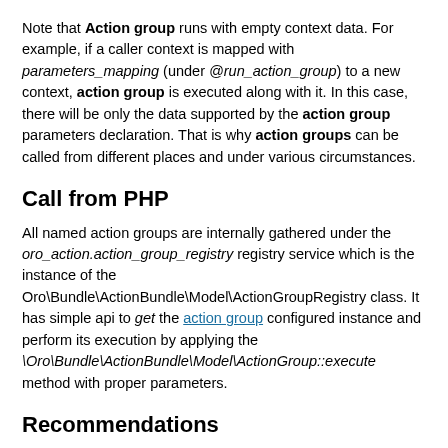Note that Action group runs with empty context data. For example, if a caller context is mapped with parameters_mapping (under @run_action_group) to a new context, action group is executed along with it. In this case, there will be only the data supported by the action group parameters declaration. That is why action groups can be called from different places and under various circumstances.
Call from PHP
All named action groups are internally gathered under the oro_action.action_group_registry registry service which is the instance of the Oro\Bundle\ActionBundle\Model\ActionGroupRegistry class. It has simple api to get the action group configured instance and perform its execution by applying the \Oro\Bundle\ActionBundle\Model\ActionGroup::execute method with proper parameters.
Recommendations
User Interface